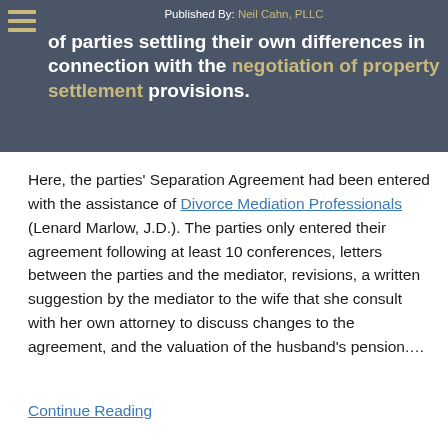of parties settling their own differences in connection with the negotiation of property settlement provisions. Published By: Neil Cahn, PLLC
Here, the parties' Separation Agreement had been entered with the assistance of Divorce Mediation Professionals (Lenard Marlow, J.D.). The parties only entered their agreement following at least 10 conferences, letters between the parties and the mediator, revisions, a written suggestion by the mediator to the wife that she consult with her own attorney to discuss changes to the agreement, and the valuation of the husband's pension.…
Continue Reading